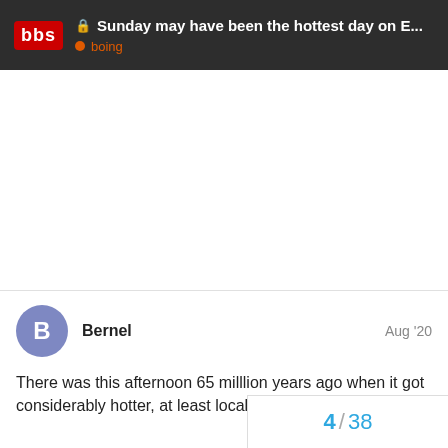Sunday may have been the hottest day on E... boing
There was this afternoon 65 milllion years ago when it got considerably hotter, at least locally over northern Mexico...
4 / 38